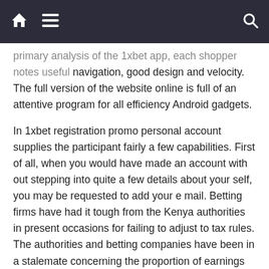navigation bar with home, menu, and search icons
primary analysis of the 1xbet app, each shopper notes useful navigation, good design and velocity. The full version of the website online is full of an attentive program for all efficiency Android gadgets.
In 1xbet registration promo personal account supplies the participant fairly a few capabilities. First of all, when you would have made an account with out stepping into quite a few details about your self, you may be requested to add your e mail. Betting firms have had it tough from the Kenya authorities in present occasions for failing to adjust to tax rules. The authorities and betting companies have been in a stalemate concerning the proportion of earnings that have to be submitted as tax, however everybody is conscious of who wins in that kind of battle. Nigeria being one of many international locations recognized for holding onto values for a really very very lengthy time was not quick to legalize